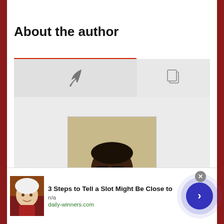About the author
[Figure (photo): Author profile photo: a man wearing glasses and a striped polo shirt, smiling, against a beige background]
[Figure (photo): Advertisement thumbnail: an older man with white hair]
3 Steps to Tell a Slot Might Be Close to
n/a
daily-winners.com